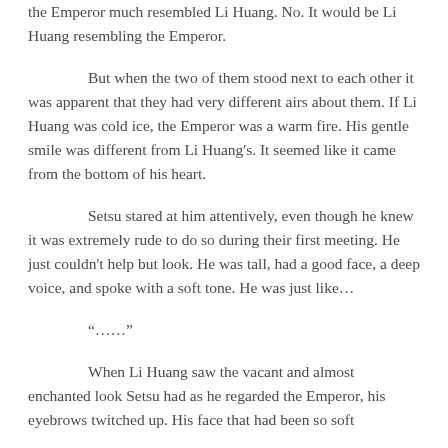the Emperor much resembled Li Huang. No. It would be Li Huang resembling the Emperor.
But when the two of them stood next to each other it was apparent that they had very different airs about them. If Li Huang was cold ice, the Emperor was a warm fire. His gentle smile was different from Li Huang's. It seemed like it came from the bottom of his heart.
Setsu stared at him attentively, even though he knew it was extremely rude to do so during their first meeting. He just couldn't help but look. He was tall, had a good face, a deep voice, and spoke with a soft tone. He was just like…
“……”
When Li Huang saw the vacant and almost enchanted look Setsu had as he regarded the Emperor, his eyebrows twitched up. His face that had been so soft